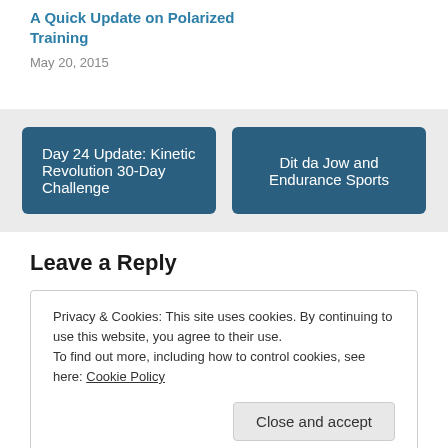A Quick Update on Polarized Training
May 20, 2015
Day 24 Update: Kinetic Revolution 30-Day Challenge
Dit da Jow and Endurance Sports
Leave a Reply
Privacy & Cookies: This site uses cookies. By continuing to use this website, you agree to their use.
To find out more, including how to control cookies, see here: Cookie Policy
Close and accept